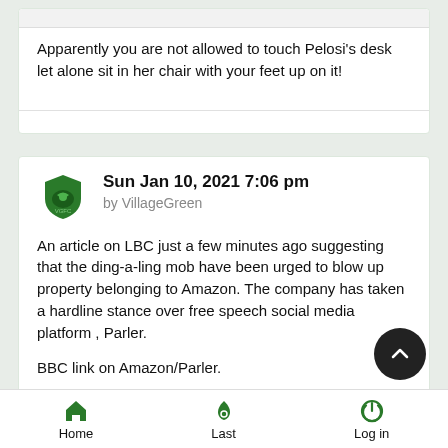Apparently you are not allowed to touch Pelosi's desk let alone sit in her chair with your feet up on it!
Sun Jan 10, 2021 7:06 pm
by VillageGreen
An article on LBC just a few minutes ago suggesting that the ding-a-ling mob have been urged to blow up property belonging to Amazon. The company has taken a hardline stance over free speech social media platform , Parler.
BBC link on Amazon/Parler.
What a mess the country is in and no doubt it will get a lot
Home   Last   Log in